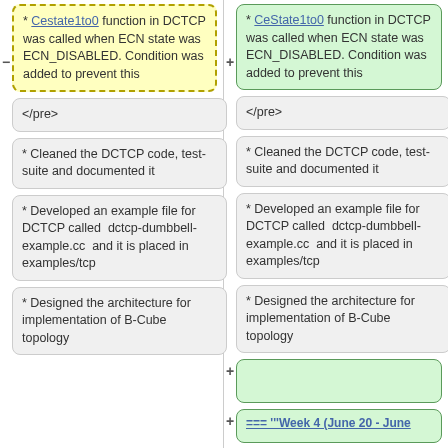* CeState1to0 function in DCTCP was called when ECN state was ECN_DISABLED. Condition was added to prevent this
* CeState1to0 function in DCTCP was called when ECN state was ECN_DISABLED. Condition was added to prevent this
</pre>
</pre>
* Cleaned the DCTCP code, test-suite and documented it
* Cleaned the DCTCP code, test-suite and documented it
* Developed an example file for DCTCP called  dctcp-dumbbell-example.cc  and it is placed in examples/tcp
* Developed an example file for DCTCP called  dctcp-dumbbell-example.cc  and it is placed in examples/tcp
* Designed the architecture for implementation of B-Cube topology
* Designed the architecture for implementation of B-Cube topology
=== '''Week 4 (June 20 - June